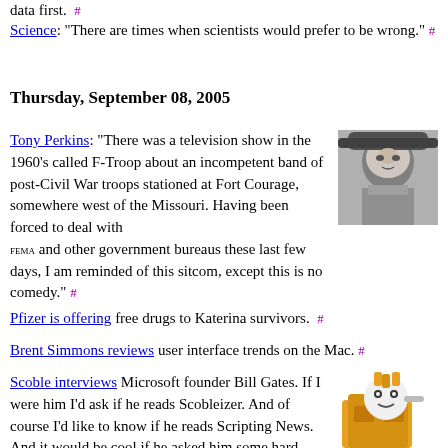data first. #
Science: "There are times when scientists would prefer to be wrong." #
Thursday, September 08, 2005
Tony Perkins: "There was a television show in the 1960's called F-Troop about an incompetent band of post-Civil War troops stationed at Fort Courage, somewhere west of the Missouri. Having been forced to deal with FEMA and other government bureaus these last few days, I am reminded of this sitcom, except this is no comedy." #
[Figure (photo): Black and white photo of a man wearing a cowboy hat, smiling]
Pfizer is offering free drugs to Katerina survivors. #
Brent Simmons reviews user interface trends on the Mac. #
Scoble interviews Microsoft founder Bill Gates. If I were him I'd ask if he reads Scobleizer. And of course I'd like to know if he reads Scripting News. And it would be cool if he asked him some hard questions, like this: If you had a choice would you be running Microsoft of 1976 or Microsoft of
[Figure (illustration): Cartoon illustration of a white ghost-like character sitting on a yellow box/crate]